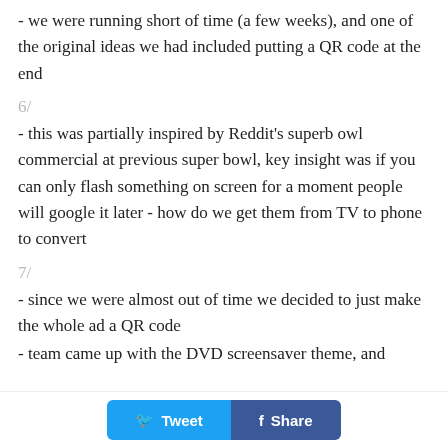- we were running short of time (a few weeks), and one of the original ideas we had included putting a QR code at the end
6/
- this was partially inspired by Reddit’s superb owl commercial at previous super bowl, key insight was if you can only flash something on screen for a moment people will google it later - how do we get them from TV to phone to convert
7/
- since we were almost out of time we decided to just make the whole ad a QR code
- team came up with the DVD screensaver theme, and
Tweet  Share